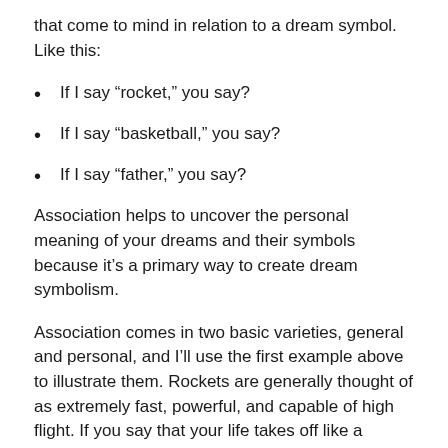that come to mind in relation to a dream symbol. Like this:
If I say “rocket,” you say?
If I say “basketball,” you say?
If I say “father,” you say?
Association helps to uncover the personal meaning of your dreams and their symbols because it’s a primary way to create dream symbolism.
Association comes in two basic varieties, general and personal, and I’ll use the first example above to illustrate them. Rockets are generally thought of as extremely fast, powerful, and capable of high flight. If you say that your life takes off like a rocket, it implies sudden and forceful movement in an upward trajectory. You are really going places, as they say. Those general associations that can be used to create